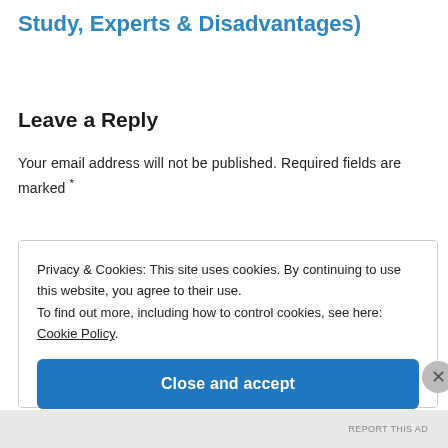Study, Experts & Disadvantages)
Leave a Reply
Your email address will not be published. Required fields are marked *
Privacy & Cookies: This site uses cookies. By continuing to use this website, you agree to their use. To find out more, including how to control cookies, see here: Cookie Policy
Close and accept